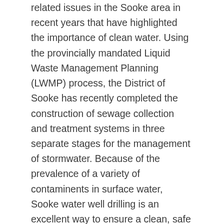related issues in the Sooke area in recent years that have highlighted the importance of clean water. Using the provincially mandated Liquid Waste Management Planning (LWMP) process, the District of Sooke has recently completed the construction of sewage collection and treatment systems in three separate stages for the management of stormwater. Because of the prevalence of a variety of contaminents in surface water, Sooke water well drilling is an excellent way to ensure a clean, safe and reliable source of water for your home or business.
It is estimated that there are over 20,000 water wells and septic systems in the capital region, and that number is expected to be doubled.